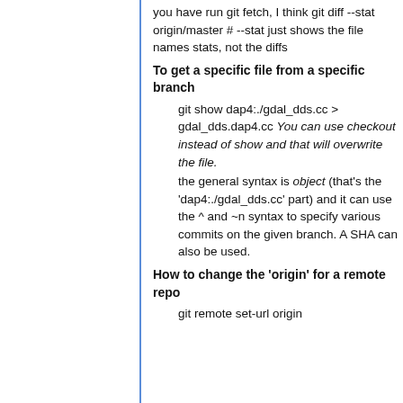you have run git fetch, I think git diff --stat origin/master # --stat just shows the file names stats, not the diffs
To get a specific file from a specific branch
git show dap4:./gdal_dds.cc > gdal_dds.dap4.cc You can use checkout instead of show and that will overwrite the file.
the general syntax is object (that's the 'dap4:./gdal_dds.cc' part) and it can use the ^ and ~n syntax to specify various commits on the given branch. A SHA can also be used.
How to change the 'origin' for a remote repo
git remote set-url origin